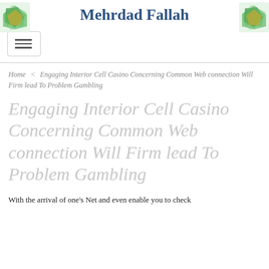Mehrdad Fallah
(hamburger menu button)
Home < Engaging Interior Cell Casino Concerning Common Web connection Will Firm lead To Problem Gambling
Engaging Interior Cell Casino Concerning Common Web connection Will Firm lead To Problem Gambling
With the arrival of one's Net and even enable you to check